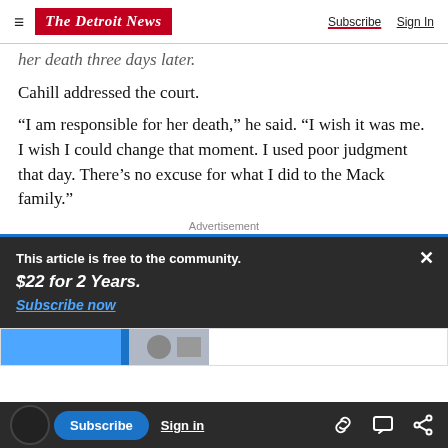The Detroit News — Subscribe | Sign In
her death three days later.
Cahill addressed the court.
“I am responsible for her death,” he said. “I wish it was me. I wish I could change that moment. I used poor judgment that day. There’s no excuse for what I did to the Mack family.”
Advertisement
This article is free to the community.
$22 for 2 Years.
Subscribe now